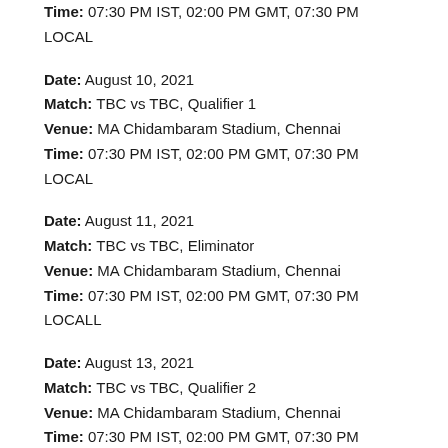Time: 07:30 PM IST, 02:00 PM GMT, 07:30 PM LOCAL
Date: August 10, 2021
Match: TBC vs TBC, Qualifier 1
Venue: MA Chidambaram Stadium, Chennai
Time: 07:30 PM IST, 02:00 PM GMT, 07:30 PM LOCAL
Date: August 11, 2021
Match: TBC vs TBC, Eliminator
Venue: MA Chidambaram Stadium, Chennai
Time: 07:30 PM IST, 02:00 PM GMT, 07:30 PM LOCALL
Date: August 13, 2021
Match: TBC vs TBC, Qualifier 2
Venue: MA Chidambaram Stadium, Chennai
Time: 07:30 PM IST, 02:00 PM GMT, 07:30 PM LOCAL
Date: August 15, 2021
Match: TBC vs TBC, Final
Venue: MA Chidambaram Stadium, Chennai